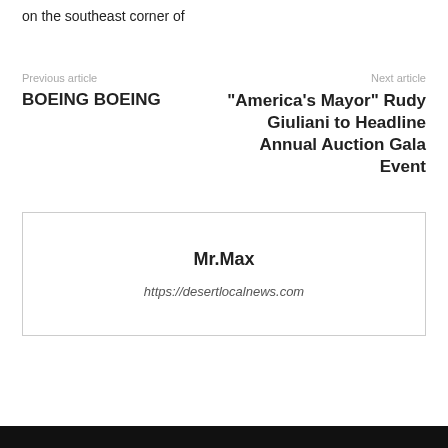on the southeast corner of
Previous article
BOEING BOEING
Next article
“America’s Mayor” Rudy Giuliani to Headline Annual Auction Gala Event
Mr.Max
https://desertlocalnews.com